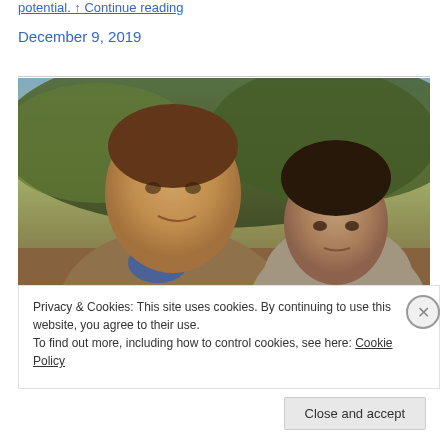potential. ↑ Continue reading
December 9, 2019
[Figure (photo): Two young men outdoors with trees and sky in background, golden light]
Privacy & Cookies: This site uses cookies. By continuing to use this website, you agree to their use.
To find out more, including how to control cookies, see here: Cookie Policy
Close and accept